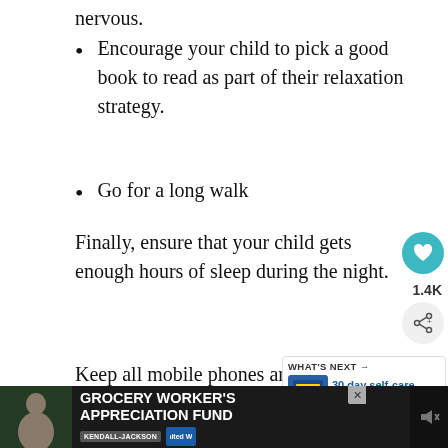nervous.
Encourage your child to pick a good book to read as part of their relaxation strategy.
Go for a long walk
Finally, ensure that your child gets enough hours of sleep during the night.
Keep all mobile phones and switch off social media notifications during bedtime.
These type of activities gives your child a chance to 'reset' their mind and articulate their feelings...